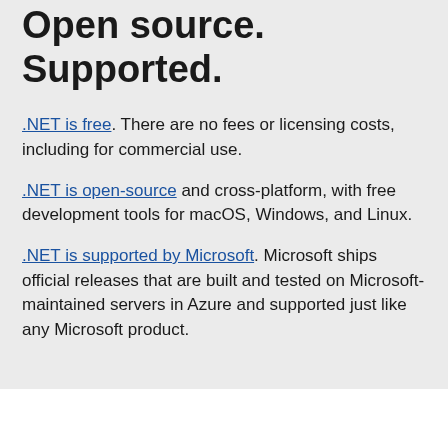Open source. Supported.
.NET is free. There are no fees or licensing costs, including for commercial use.
.NET is open-source and cross-platform, with free development tools for macOS, Windows, and Linux.
.NET is supported by Microsoft. Microsoft ships official releases that are built and tested on Microsoft-maintained servers in Azure and supported just like any Microsoft product.